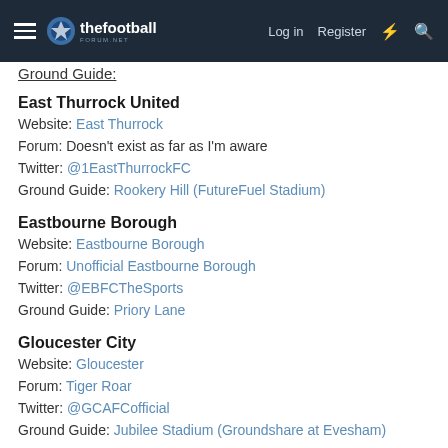thefootballforum.net — Log in | Register
Ground Guide:
East Thurrock United
Website: East Thurrock
Forum: Doesn't exist as far as I'm aware
Twitter: @1EastThurrockFC
Ground Guide: Rookery Hill (FutureFuel Stadium)
Eastbourne Borough
Website: Eastbourne Borough
Forum: Unofficial Eastbourne Borough
Twitter: @EBFCTheSports
Ground Guide: Priory Lane
Gloucester City
Website: Gloucester
Forum: Tiger Roar
Twitter: @GCAFCofficial
Ground Guide: Jubilee Stadium (Groundshare at Evesham)